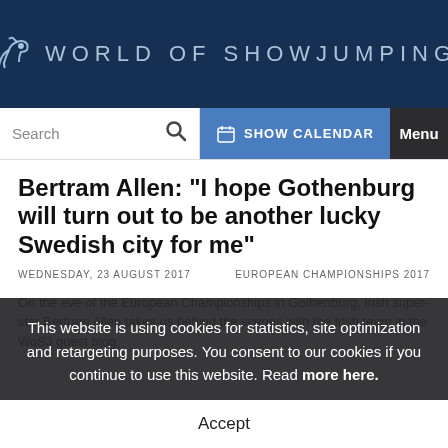WORLD OF SHOWJUMPING
Bertram Allen: "I hope Gothenburg will turn out to be another lucky Swedish city for me"
WEDNESDAY, 23 AUGUST 2017   EUROPEAN CHAMPIONSHIPS 2017
On the eve of the European Championships in Gothenburg, Irish super-star Bertram Allen takes us behind the scenes with the Irish team in the WoSJ guest blog.
This website is using cookies for statistics, site optimization and retargeting purposes. You consent to our cookies if you continue to use this website. Read more here.
Accept